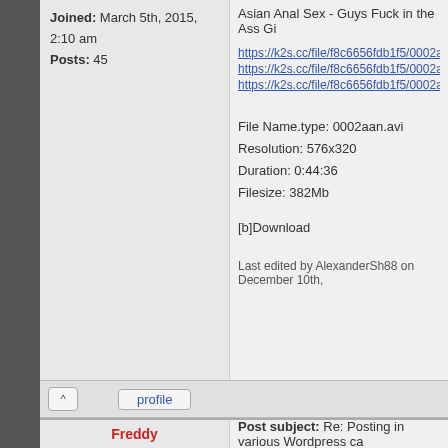Joined: March 5th, 2015, 2:10 am
Posts: 45
Asian Anal Sex - Guys Fuck in the Ass Gi...
https://k2s.cc/file/f8c6656fdb1f5/0002aan.
https://k2s.cc/file/f8c6656fdb1f5/0002aan.
https://k2s.cc/file/f8c6656fdb1f5/0002aan.
File Name.type: 0002aan.avi
Resolution: 576x320
Duration: 0:44:36
Filesize: 382Mb
[b]Download
Last edited by AlexanderSh88 on December 10th,
profile
Freddy
Post subject: Re: Posting in various Wordpress ca...
Site Admin
Merged.